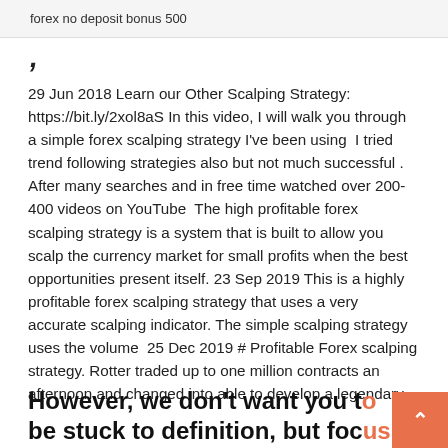forex no deposit bonus 500
29 Jun 2018 Learn our Other Scalping Strategy: https://bit.ly/2xol8aS In this video, I will walk you through a simple forex scalping strategy I've been using I tried trend following strategies also but not much successful . After many searches and in free time watched over 200-400 videos on YouTube  The high profitable forex scalping strategy is a system that is built to allow you scalp the currency market for small profits when the best opportunities present itself. 23 Sep 2019 This is a highly profitable forex scalping strategy that uses a very accurate scalping indicator. The simple scalping strategy uses the volume  25 Dec 2019 # Profitable Forex scalping strategy. Rotter traded up to one million contracts an afternoon and changed into able to develop a legendary
However, we don't want you to be stuck to definition, but focus on the scalping principles...